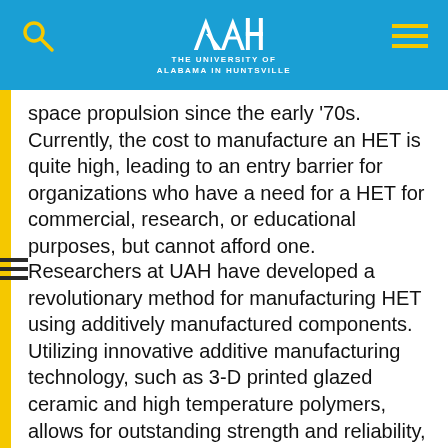THE UNIVERSITY OF ALABAMA IN HUNTSVILLE
space propulsion since the early '70s. Currently, the cost to manufacture an HET is quite high, leading to an entry barrier for organizations who have a need for a HET for commercial, research, or educational purposes, but cannot afford one.
Researchers at UAH have developed a revolutionary method for manufacturing HET using additively manufactured components. Utilizing innovative additive manufacturing technology, such as 3-D printed glazed ceramic and high temperature polymers, allows for outstanding strength and reliability, while driving costs down substantially. The 3-D printed components also allow integration of functions that can simplify the fabrication of other non-